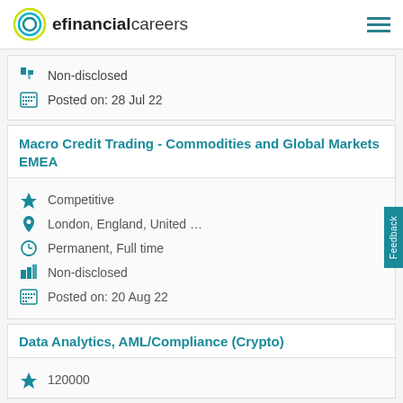efinancialcareers
Non-disclosed | Posted on: 28 Jul 22
Macro Credit Trading - Commodities and Global Markets EMEA
Competitive | London, England, United ... | Permanent, Full time | Non-disclosed | Posted on: 20 Aug 22
Data Analytics, AML/Compliance (Crypto)
120000